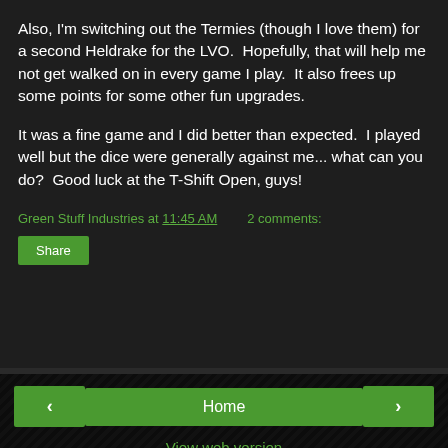Also, I'm switching out the Termies (though I love them) for a second Heldrake for the LVO.  Hopefully, that will help me not get walked on in every game I play.  It also frees up some points for some other fun upgrades.
It was a fine game and I did better than expected.  I played well but the dice were generally against me... what can you do?  Good luck at the T-Shift Open, guys!
Green Stuff Industries at 11:45 AM    2 comments:
Share
‹
Home
›
View web version
Powered by Blogger.